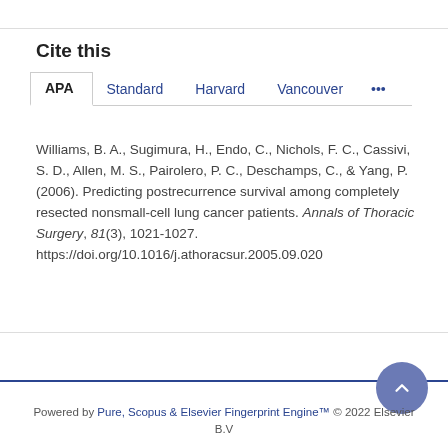Cite this
APA | Standard | Harvard | Vancouver | ...
Williams, B. A., Sugimura, H., Endo, C., Nichols, F. C., Cassivi, S. D., Allen, M. S., Pairolero, P. C., Deschamps, C., & Yang, P. (2006). Predicting postrecurrence survival among completely resected nonsmall-cell lung cancer patients. Annals of Thoracic Surgery, 81(3), 1021-1027. https://doi.org/10.1016/j.athoracsur.2005.09.020
Powered by Pure, Scopus & Elsevier Fingerprint Engine™ © 2022 Elsevier B.V